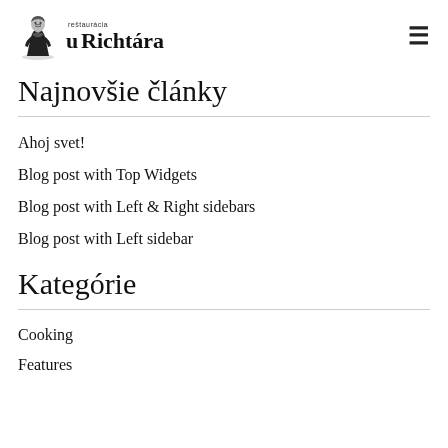reštaurácia u Richtára
Najnovšie články
Ahoj svet!
Blog post with Top Widgets
Blog post with Left & Right sidebars
Blog post with Left sidebar
Kategórie
Cooking
Features